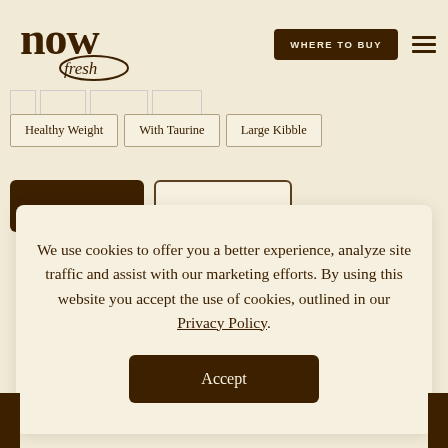[Figure (logo): Now Fresh logo - stylized text 'now' in dark brown serif with sketch texture, with 'fresh' in cursive script below]
WHERE TO BUY
Healthy Weight
With Taurine
Large Kibble
We use cookies to offer you a better experience, analyze site traffic and assist with our marketing efforts. By using this website you accept the use of cookies, outlined in our Privacy Policy.
Accept